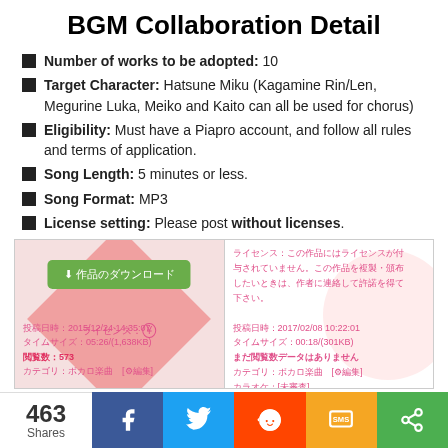BGM Collaboration Detail
Number of works to be adopted: 10
Target Character: Hatsune Miku (Kagamine Rin/Len, Megurine Luka, Meiko and Kaito can all be used for chorus)
Eligibility: Must have a Piapro account, and follow all rules and terms of application.
Song Length: 5 minutes or less.
Song Format: MP3
License setting: Please post without licenses.
[Figure (screenshot): Screenshot of a Piapro music upload page showing download button, license mark (yen symbol), upload date 2015/12/24 14:35:07, file size 05:26/(1,638KB), view count 573, category ボカロ楽曲, and a second entry with license info text in Japanese, date 2017/02/08 10:22:01, size 00:18/(301KB), no view count data.]
463 Shares  f  twitter  reddit  SMS  share